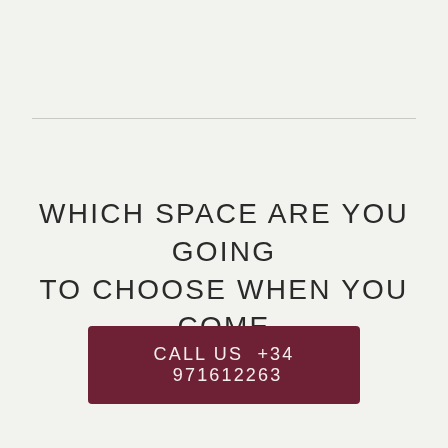WHICH SPACE ARE YOU GOING TO CHOOSE WHEN YOU COME TO SEE US?
CALL US +34 971612263